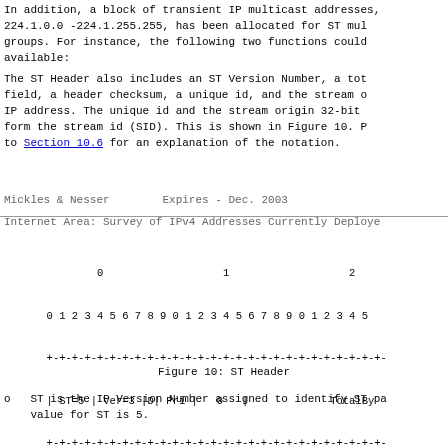In addition, a block of transient IP multicast addresses, 224.1.0.0 -224.1.255.255, has been allocated for ST multicast groups. For instance, the following two functions could be available:
The ST Header also includes an ST Version Number, a total length field, a header checksum, a unique id, and the stream origin IP address. The unique id and the stream origin 32-bit IP address form the stream id (SID). This is shown in Figure 10. Please refer to Section 10.6 for an explanation of the notation.
Mickles & Nesser        Expires - Dec. 2003
Internet Area: Survey of IPv4 Addresses Currently Deployed
[Figure (schematic): ST Header bit field diagram showing fields: ST=5, Ver=3, D, Pri, 0, TotalBy..., HeaderChecksum, UniqueI..., OriginIPAddress across 0-25+ bit positions]
Figure 10: ST Header
o   ST is the IP Version Number assigned to identify ST packets. The value for ST is 5.